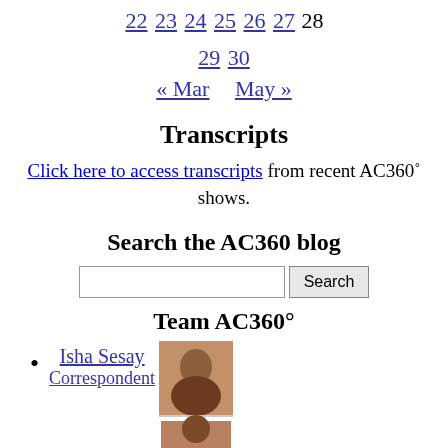22 23 24 25 26 27 28
29 30
« Mar   May »
Transcripts
Click here to access transcripts from recent AC360° shows.
Search the AC360 blog
[Figure (other): Search input box with Search button]
Team AC360°
Isha Sesay Correspondent
[Figure (photo): Photo of Isha Sesay and partial photo of another team member below]